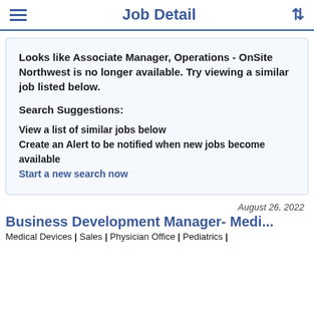Job Detail
Looks like Associate Manager, Operations - OnSite Northwest is no longer available. Try viewing a similar job listed below.

Search Suggestions:

View a list of similar jobs below
Create an Alert to be notified when new jobs become available
Start a new search now
August 26, 2022
Business Development Manager- Medi...
Medical Devices | Sales | Physician Office | Pediatrics |